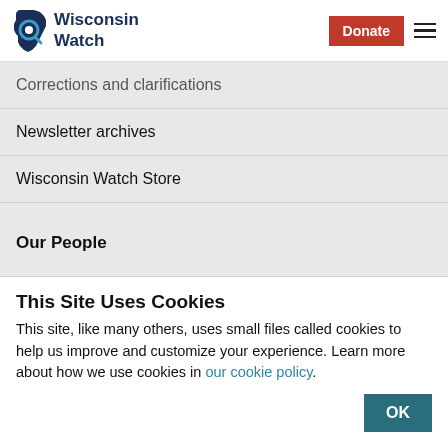[Figure (logo): Wisconsin Watch logo with state outline icon and text]
Corrections and clarifications
Newsletter archives
Wisconsin Watch Store
Our People
Our people
This Site Uses Cookies
This site, like many others, uses small files called cookies to help us improve and customize your experience. Learn more about how we use cookies in our cookie policy.